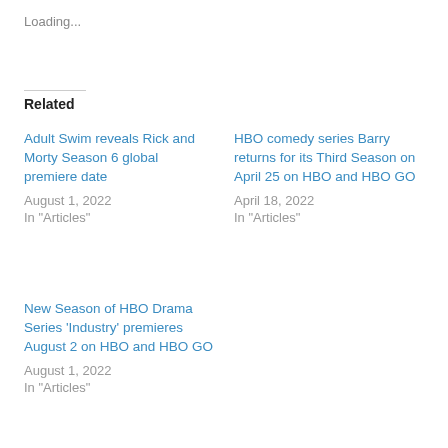Loading...
Related
Adult Swim reveals Rick and Morty Season 6 global premiere date
August 1, 2022
In "Articles"
HBO comedy series Barry returns for its Third Season on April 25 on HBO and HBO GO
April 18, 2022
In "Articles"
New Season of HBO Drama Series 'Industry' premieres August 2 on HBO and HBO GO
August 1, 2022
In "Articles"